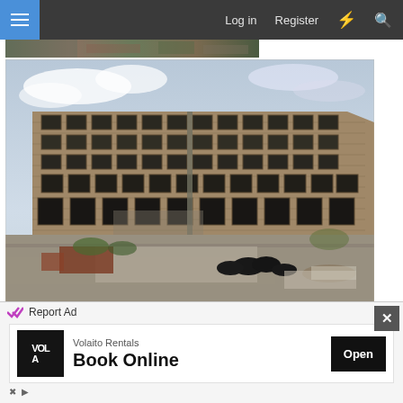Log in  Register
[Figure (photo): Partial top strip: rubble and debris photo partially visible]
[Figure (photo): Large abandoned multi-storey brick industrial mill building with many broken windows, overgrown with weeds, old tyres and rubbish in foreground, photographed against a cloudy sky]
[Figure (photo): Partial bottom strip: blue sky and building facade partially visible]
Report Ad
Volaito Rentals
Book Online
Open